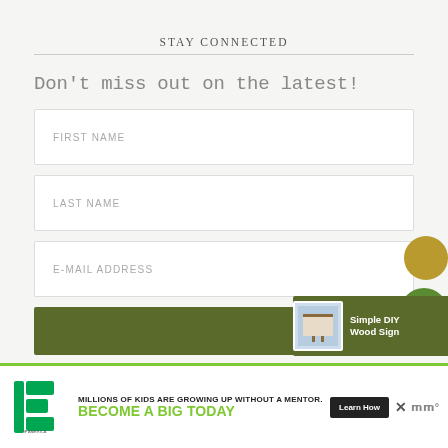STAY CONNECTED
Don't miss out on the latest!
FIRST NAME
LAST NAME
E-MAIL ADDRESS
[Figure (other): Gold circle and green circle sidebar decoration]
[Figure (other): Simple DIY Wood Sign promo banner with thumbnail image]
[Figure (other): Big Brothers Big Sisters advertisement banner: MILLIONS OF KIDS ARE GROWING UP WITHOUT A MENTOR. BECOME A BIG TODAY. Learn How.]